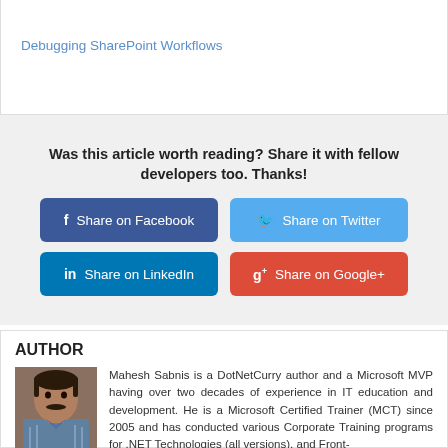Debugging SharePoint Workflows
Was this article worth reading? Share it with fellow developers too. Thanks!
Share on Facebook
Share on Twitter
Share on LinkedIn
Share on Google+
AUTHOR
Mahesh Sabnis is a DotNetCurry author and a Microsoft MVP having over two decades of experience in IT education and development. He is a Microsoft Certified Trainer (MCT) since 2005 and has conducted various Corporate Training programs for .NET Technologies (all versions), and Front-